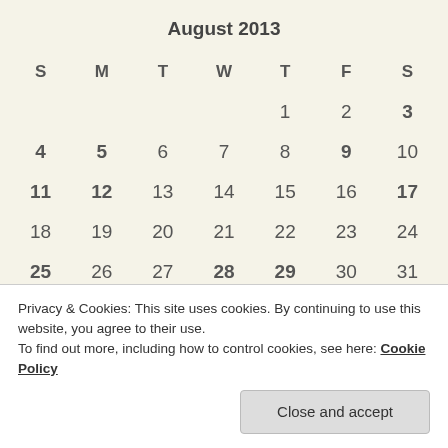August 2013
| S | M | T | W | T | F | S |
| --- | --- | --- | --- | --- | --- | --- |
|  |  |  |  | 1 | 2 | 3 |
| 4 | 5 | 6 | 7 | 8 | 9 | 10 |
| 11 | 12 | 13 | 14 | 15 | 16 | 17 |
| 18 | 19 | 20 | 21 | 22 | 23 | 24 |
| 25 | 26 | 27 | 28 | 29 | 30 | 31 |
Privacy & Cookies: This site uses cookies. By continuing to use this website, you agree to their use. To find out more, including how to control cookies, see here: Cookie Policy
Close and accept